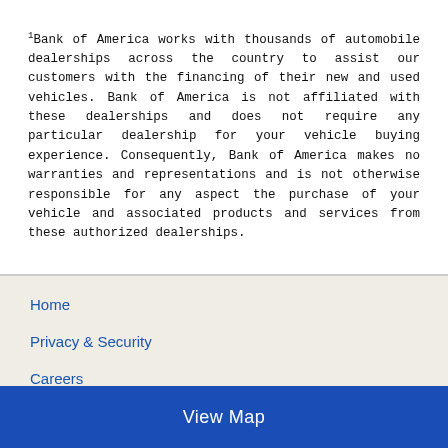1Bank of America works with thousands of automobile dealerships across the country to assist our customers with the financing of their new and used vehicles. Bank of America is not affiliated with these dealerships and does not require any particular dealership for your vehicle buying experience. Consequently, Bank of America makes no warranties and representations and is not otherwise responsible for any aspect the purchase of your vehicle and associated products and services from these authorized dealerships.
Home
Privacy & Security
Careers
Site Map
View Map